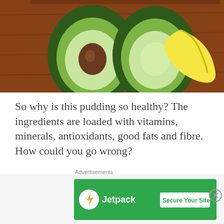[Figure (photo): Photo of halved avocados and a banana on a wooden cutting board]
So why is this pudding so healthy? The ingredients are loaded with vitamins, minerals, antioxidants, good fats and fibre.  How could you go wrong?
Avocados are a great source of healthy fat and fibre.  Read my other articles to learn more about what fats are and the truth about fats and why they are an important part of your diet.  They also
Advertisements
[Figure (screenshot): Jetpack advertisement banner with 'Secure Your Site' button on green background]